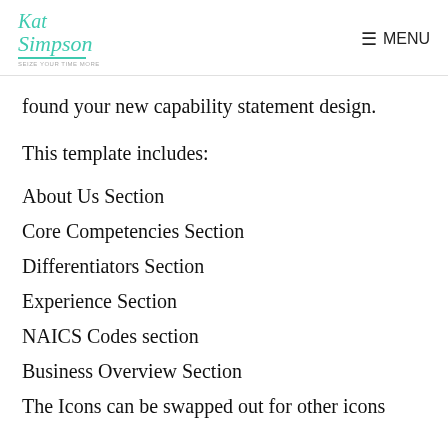Kat Simpson | MENU
found your new capability statement design.
This template includes:
About Us Section
Core Competencies Section
Differentiators Section
Experience Section
NAICS Codes section
Business Overview Section
The Icons can be swapped out for other icons